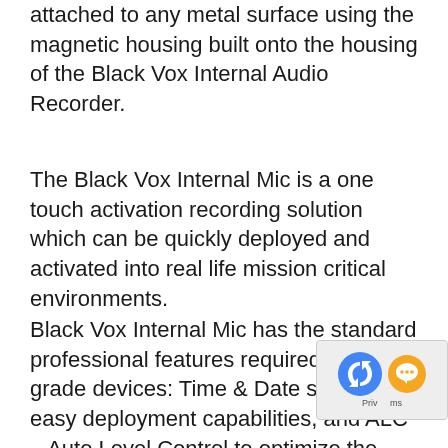attached to any metal surface using the magnetic housing built onto the housing of the Black Vox Internal Audio Recorder.
The Black Vox Internal Mic is a one touch activation recording solution which can be quickly deployed and activated into real life mission critical environments.
Black Vox Internal Mic has the standard professional features required for LE grade devices: Time & Date stamping, easy deployment capabilities, and ALC – Auto Level Control to optimize the sensitivity of the audio pick up range. Ideal for difficult recording environments.